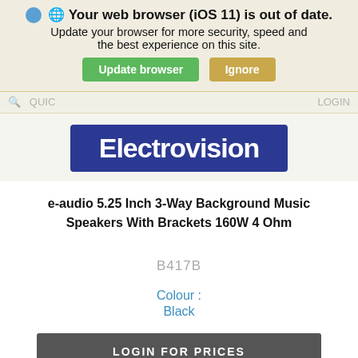Your web browser (iOS 11) is out of date. Update your browser for more security, speed and the best experience on this site.
[Figure (screenshot): Two buttons: green 'Update browser' and tan 'Ignore']
Q  QUICK ORDER    LOGIN
[Figure (logo): Electrovision logo — white text on dark blue rounded rectangle]
e-audio 5.25 Inch 3-Way Background Music Speakers With Brackets 160W 4 Ohm
B417B
Colour :
Black
LOGIN FOR PRICES